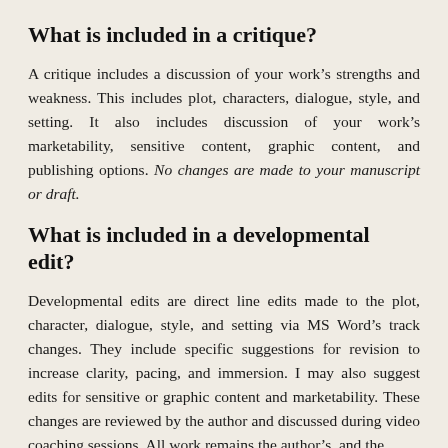What is included in a critique?
A critique includes a discussion of your work’s strengths and weakness. This includes plot, characters, dialogue, style, and setting. It also includes discussion of your work’s marketability, sensitive content, graphic content, and publishing options. No changes are made to your manuscript or draft.
What is included in a developmental edit?
Developmental edits are direct line edits made to the plot, character, dialogue, style, and setting via MS Word’s track changes. They include specific suggestions for revision to increase clarity, pacing, and immersion. I may also suggest edits for sensitive or graphic content and marketability. These changes are reviewed by the author and discussed during video coaching sessions. All work remains the author’s, and the author is under no obligation to accept any changes, and the